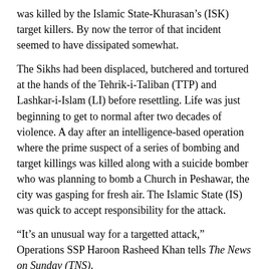was killed by the Islamic State-Khurasan's (ISK) target killers. By now the terror of that incident seemed to have dissipated somewhat.
The Sikhs had been displaced, butchered and tortured at the hands of the Tehrik-i-Taliban (TTP) and Lashkar-i-Islam (LI) before resettling. Life was just beginning to get to normal after two decades of violence. A day after an intelligence-based operation where the prime suspect of a series of bombing and target killings was killed along with a suicide bomber who was planning to bomb a Church in Peshawar, the city was gasping for fresh air. The Islamic State (IS) was quick to accept responsibility for the attack.
“It’s an unusual way for a targetted attack,” Operations SSP Haroon Rasheed Khan tells The News on Sunday (TNS).